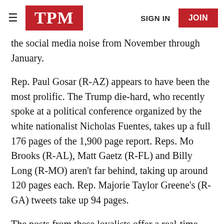TPM | SIGN IN | JOIN
the social media noise from November through January.
Rep. Paul Gosar (R-AZ) appears to have been the most prolific. The Trump die-hard, who recently spoke at a political conference organized by the white nationalist Nicholas Fuentes, takes up a full 176 pages of the 1,900 page report. Reps. Mo Brooks (R-AL), Matt Gaetz (R-FL) and Billy Long (R-MO) aren't far behind, taking up around 120 pages each. Rep. Majorie Taylor Greene's (R-GA) tweets take up 94 pages.
The posts from these loyalists offer a real-time view